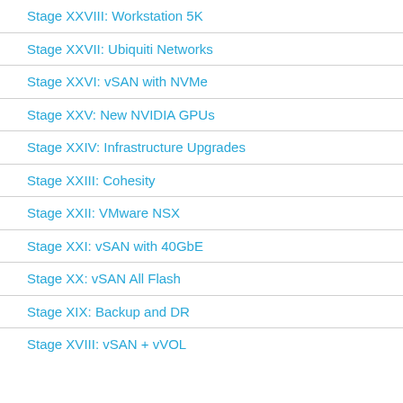Stage XXVIII: Workstation 5K
Stage XXVII: Ubiquiti Networks
Stage XXVI: vSAN with NVMe
Stage XXV: New NVIDIA GPUs
Stage XXIV: Infrastructure Upgrades
Stage XXIII: Cohesity
Stage XXII: VMware NSX
Stage XXI: vSAN with 40GbE
Stage XX: vSAN All Flash
Stage XIX: Backup and DR
Stage XVIII: vSAN + vVOL